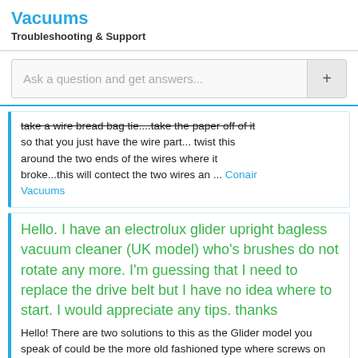Vacuums
Troubleshooting & Support
Ask a question and get answers...
take a wire bread bag tie....take the paper off of it so that you just have the wire part... twist this around the two ends of the wires where it broke...this will contect the two wires an ... Conair Vacuums
Hello. I have an electrolux glider upright bagless vacuum cleaner (UK model) who's brushes do not rotate any more. I'm guessing that I need to replace the drive belt but I have no idea where to start. I would appreciate any tips. thanks
Hello! There are two solutions to this as the Glider model you speak of could be the more old fashioned type where screws on the bottom foot plate (ie where the spinning brush sits) have to be